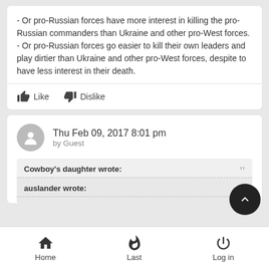- Or pro-Russian forces have more interest in killing the pro-Russian commanders than Ukraine and other pro-West forces.
- Or pro-Russian forces go easier to kill their own leaders and play dirtier than Ukraine and other pro-West forces, despite to have less interest in their death.
Like   Dislike
Thu Feb 09, 2017 8:01 pm
by Guest
Cowboy's daughter wrote:
auslander wrote: